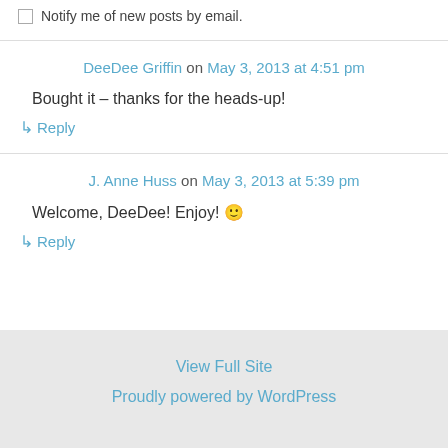Notify me of new posts by email.
DeeDee Griffin on May 3, 2013 at 4:51 pm
Bought it – thanks for the heads-up!
↳ Reply
J. Anne Huss on May 3, 2013 at 5:39 pm
Welcome, DeeDee! Enjoy! 🙂
↳ Reply
View Full Site
Proudly powered by WordPress